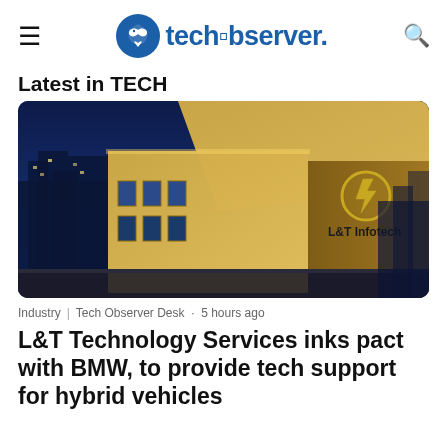techobserver.
Latest in TECH
[Figure (photo): L&T Infotech building exterior at night with illuminated signage showing L&T Infotech logo against blue sky]
Industry | Tech Observer Desk · 5 hours ago
L&T Technology Services inks pact with BMW, to provide tech support for hybrid vehicles